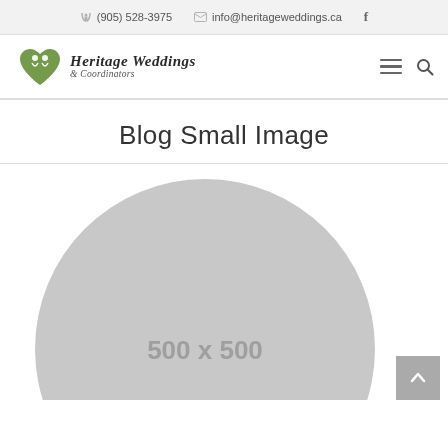(905) 528-3975   info@heritageweddings.ca   f
[Figure (logo): Heritage Weddings & Coordinators logo with green heart/figures icon and cursive text]
Blog Small Image
[Figure (illustration): Gray circular placeholder image showing '500 x 500']